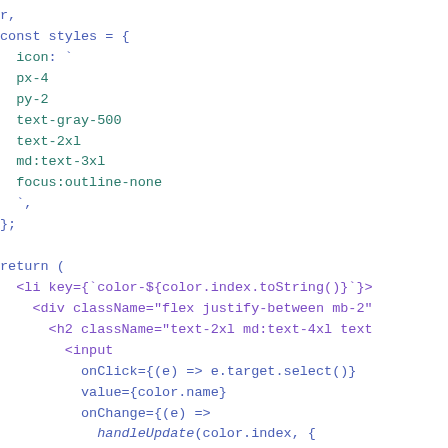r,
  const styles = {
    icon: `
    px-4
    py-2
    text-gray-500
    text-2xl
    md:text-3xl
    focus:outline-none
    `,
  };

  return (
    <li key={`color-${color.index.toString()}`}>
      <div className="flex justify-between mb-2"
        <h2 className="text-2xl md:text-4xl text
          <input
            onClick={(e) => e.target.select()}
            value={color.name}
            onChange={(e) =>
              handleUpdate(color.index, {
                ...color,
                name: e.target.value,